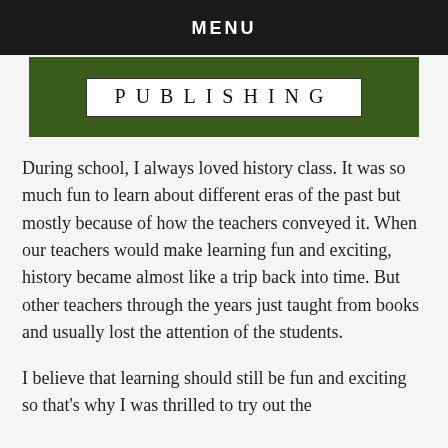MENU
[Figure (logo): Publishing logo: white rectangle with 'PUBLISHING' text in spaced letters on a dark green background]
During school, I always loved history class. It was so much fun to learn about different eras of the past but mostly because of how the teachers conveyed it. When our teachers would make learning fun and exciting, history became almost like a trip back into time. But other teachers through the years just taught from books and usually lost the attention of the students.
I believe that learning should still be fun and exciting so that's why I was thrilled to try out the